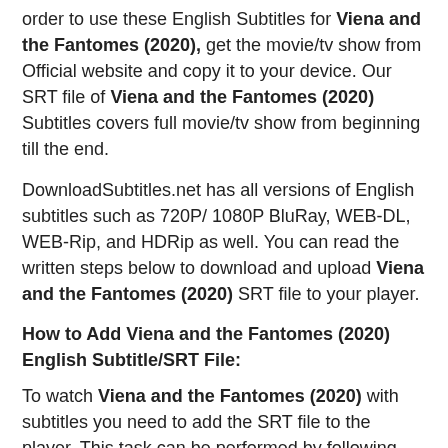order to use these English Subtitles for Viena and the Fantomes (2020), get the movie/tv show from Official website and copy it to your device. Our SRT file of Viena and the Fantomes (2020) Subtitles covers full movie/tv show from beginning till the end.
DownloadSubtitles.net has all versions of English subtitles such as 720P/ 1080P BluRay, WEB-DL, WEB-Rip, and HDRip as well. You can read the written steps below to download and upload Viena and the Fantomes (2020) SRT file to your player.
How to Add Viena and the Fantomes (2020) English Subtitle/SRT File:
To watch Viena and the Fantomes (2020) with subtitles you need to add the SRT file to the player. This task can be performed by following the given steps: